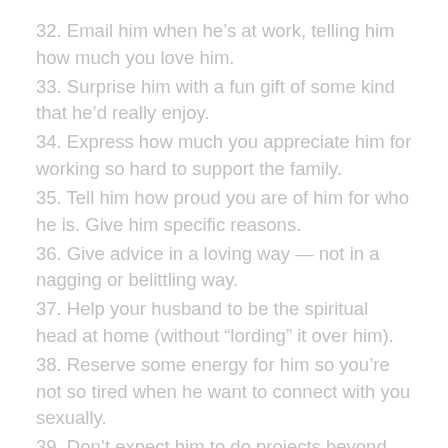32. Email him when he's at work, telling him how much you love him.
33. Surprise him with a fun gift of some kind that he'd really enjoy.
34. Express how much you appreciate him for working so hard to support the family.
35. Tell him how proud you are of him for who he is. Give him specific reasons.
36. Give advice in a loving way — not in a nagging or belittling way.
37. Help your husband to be the spiritual head at home (without “lording” it over him).
38. Reserve some energy for him so you’re not so tired when he want to connect with you sexually.
39. Don’t expect him to do projects beyond his